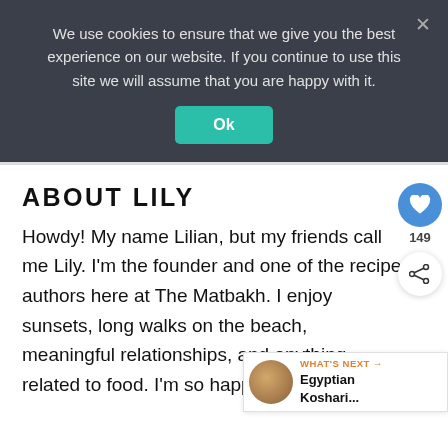We use cookies to ensure that we give you the best experience on our website. If you continue to use this site we will assume that you are happy with it.
Ok
ABOUT LILY
Howdy! My name Lilian, but my friends call me Lily. I'm the founder and one of the recipe authors here at The Matbakh. I enjoy sunsets, long walks on the beach, meaningful relationships, and anything related to food. I'm so happy you are here!
149
WHAT'S NEXT → Egyptian Koshari...